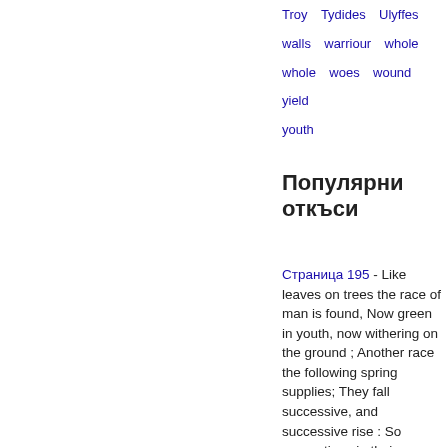Troy   Tydides   Ulyffes
walls   warriour   whole
whole   woes   wound   yield
youth
Популярни откъси
Страница 195 - Like leaves on trees the race of man is found, Now green in youth, now withering on the ground ; Another race the following spring supplies; They fall successive, and successive rise : So generations in their course decay; So flourish these, when those are pass'd away.